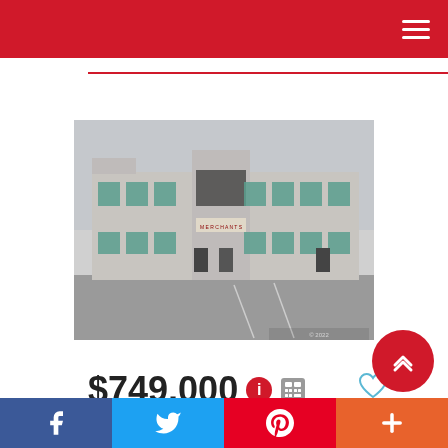Navigation bar with hamburger menu
[Figure (photo): Exterior photo of a two-story commercial concrete building with large green-tinted windows and a sign reading 'Merchants' or similar, with a parking lot in front, overcast sky.]
$749,000
LISTING # W5727379
Commercial For Sale
Social share bar: Facebook, Twitter, Pinterest, More (+)